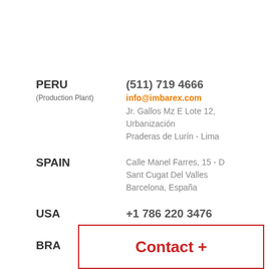PERU
(Production Plant)
(511) 719 4666
info@imbarex.com
Jr. Gallos Mz E Lote 12, Urbanización Praderas de Lurín - Lima
SPAIN
Calle Manel Farres, 15 - D
Sant Cugat Del Valles
Barcelona, España
USA
+1 786 220 3476
8333 NW 53rd Street,
Suite 450, Doral,
BRA
Contact +